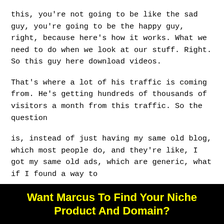this, you're not going to be like the sad guy, you're going to be the happy guy, right, because here's how it works. What we need to do when we look at our stuff. Right. So this guy here download videos.
That's where a lot of his traffic is coming from. He's getting hundreds of thousands of visitors a month from this traffic. So the question
is, instead of just having my same old blog, which most people do, and they're like, I got my same old ads, which are generic, what if I found a way to
maximize? That. Post, I mean, after all,
Want Marcus To Find Your Niche Product And Domain?